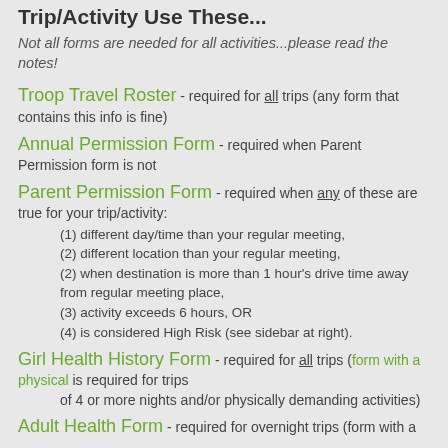Trip/Activity Use These...
Not all forms are needed for all activities...please read the notes!
Troop Travel Roster - required for all trips (any form that contains this info is fine)
Annual Permission Form - required when Parent Permission form is not
Parent Permission Form - required when any of these are true for your trip/activity:
(1) different day/time than your regular meeting,
(2) different location than your regular meeting,
(2) when destination is more than 1 hour's drive time away from regular meeting place,
(3) activity exceeds 6 hours, OR
(4) is considered High Risk (see sidebar at right).
Girl Health History Form - required for all trips (form with a physical is required for trips of 4 or more nights and/or physically demanding activities)
Adult Health Form - required for overnight trips (form with a